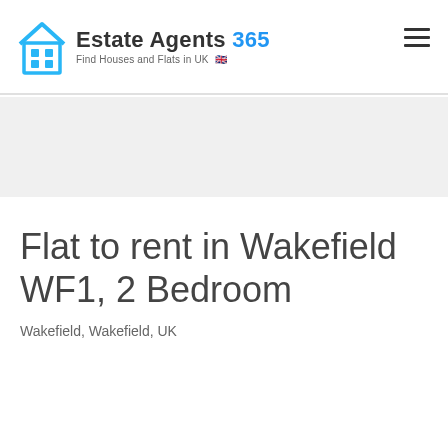Estate Agents 365 — Find Houses and Flats in UK
Flat to rent in Wakefield WF1, 2 Bedroom
Wakefield, Wakefield, UK